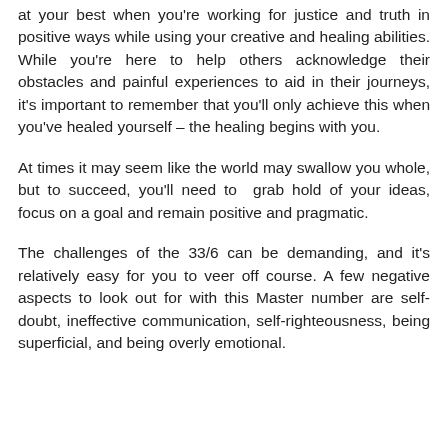at your best when you're working for justice and truth in positive ways while using your creative and healing abilities. While you're here to help others acknowledge their obstacles and painful experiences to aid in their journeys, it's important to remember that you'll only achieve this when you've healed yourself – the healing begins with you.
At times it may seem like the world may swallow you whole, but to succeed, you'll need to grab hold of your ideas, focus on a goal and remain positive and pragmatic.
The challenges of the 33/6 can be demanding, and it's relatively easy for you to veer off course. A few negative aspects to look out for with this Master number are self-doubt, ineffective communication, self-righteousness, being superficial, and being overly emotional.